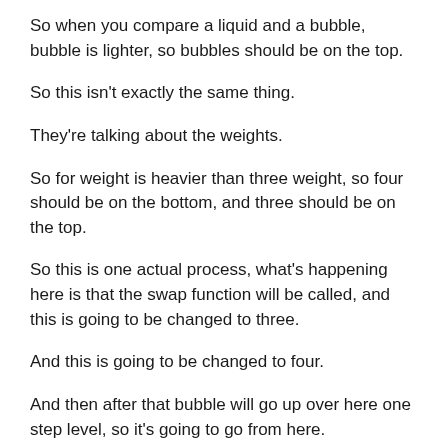So when you compare a liquid and a bubble, bubble is lighter, so bubbles should be on the top.
So this isn't exactly the same thing.
They're talking about the weights.
So for weight is heavier than three weight, so four should be on the bottom, and three should be on the top.
So this is one actual process, what's happening here is that the swap function will be called, and this is going to be changed to three.
And this is going to be changed to four.
And then after that bubble will go up over here one step level, so it's going to go from here.